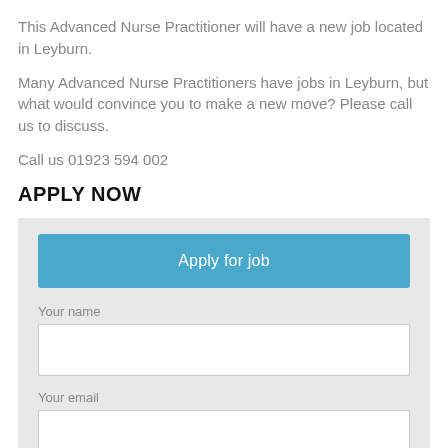This Advanced Nurse Practitioner will have a new job located in Leyburn.
Many Advanced Nurse Practitioners have jobs in Leyburn, but what would convince you to make a new move? Please call us to discuss.
Call us 01923 594 002
APPLY NOW
[Figure (screenshot): Web form with 'Apply for job' button in blue, followed by input fields for 'Your name', 'Your email', and a partially visible 'Phone Number' field, all on a light grey background.]